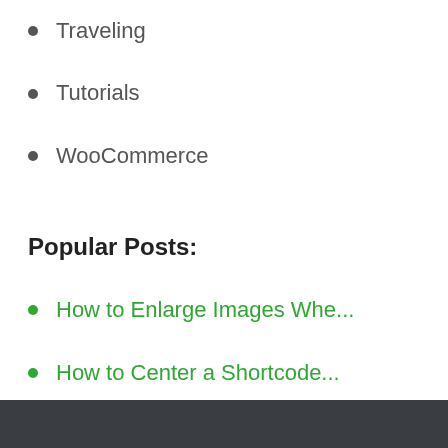Traveling
Tutorials
WooCommerce
Popular Posts:
How to Enlarge Images Whe...
How to Center a Shortcode...
How to Make an Image Clic...
How to Add a Shortcode to...
How to Add Video in the S...